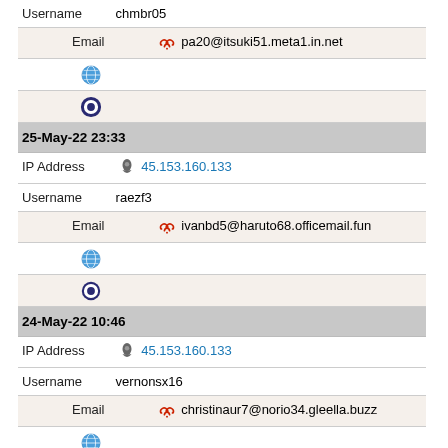Username  chmbr05
Email  pa20@itsuki51.meta1.in.net
[globe icon]
[opera icon]
25-May-22 23:33
IP Address  45.153.160.133
Username  raezf3
Email  ivanbd5@haruto68.officemail.fun
[globe icon]
[opera icon]
24-May-22 10:46
IP Address  45.153.160.133
Username  vernonsx16
Email  christinaur7@norio34.gleella.buzz
[globe icon]
[opera icon] [opera icon]
24-May-22 05:25